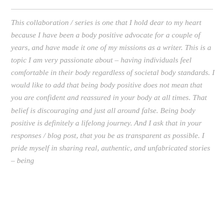This collaboration / series is one that I hold dear to my heart because I have been a body positive advocate for a couple of years, and have made it one of my missions as a writer. This is a topic I am very passionate about – having individuals feel comfortable in their body regardless of societal body standards. I would like to add that being body positive does not mean that you are confident and reassured in your body at all times. That belief is discouraging and just all around false. Being body positive is definitely a lifelong journey. And I ask that in your responses / blog post, that you be as transparent as possible. I pride myself in sharing real, authentic, and unfabricated stories – being